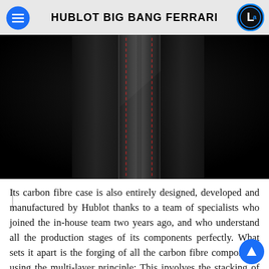HUBLOT BIG BANG FERRARI
[Figure (photo): Close-up photograph of a black leather watch strap with red stitching detail on a dark background]
Its carbon fibre case is also entirely designed, developed and manufactured by Hublot thanks to a team of specialists who joined the in-house team two years ago, and who understand all the production stages of its components perfectly. What sets it apart is the forging of all the carbon fibre components using the multi-layer principle: This involves the stacking of several sheets of carbon fibre (up to twelve for the thickest components), pressed into moulds and placed in